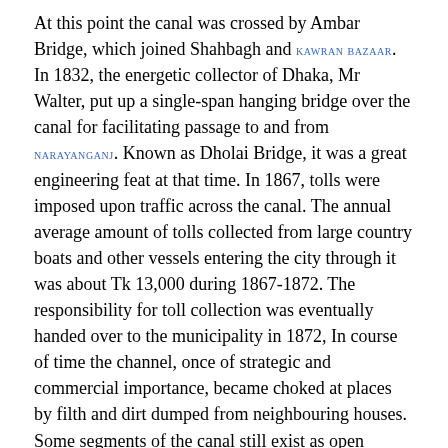At this point the canal was crossed by Ambar Bridge, which joined Shahbagh and KAWRAN BAZAAR. In 1832, the energetic collector of Dhaka, Mr Walter, put up a single-span hanging bridge over the canal for facilitating passage to and from NARAYANGANJ. Known as Dholai Bridge, it was a great engineering feat at that time. In 1867, tolls were imposed upon traffic across the canal. The annual average amount of tolls collected from large country boats and other vessels entering the city through it was about Tk 13,000 during 1867-1872. The responsibility for toll collection was eventually handed over to the municipality in 1872, In course of time the channel, once of strategic and commercial importance, became choked at places by filth and dirt dumped from neighbouring houses. Some segments of the canal still exist as open exposure, but others had been converted into an underground drainage in the old part of the city.
For many years Dholaikhal was used for BOAT RACE and other sports, including swimming. Annual fairs were held at different places on the banks of the canal on festive occasions. One of the famous ghats was the Panch Bhai Ghat at Rokanpur. The Hindu community threw images of their deities into the holy water of the Dholaikhal after puja.
Dholaikhal was famous for many things...